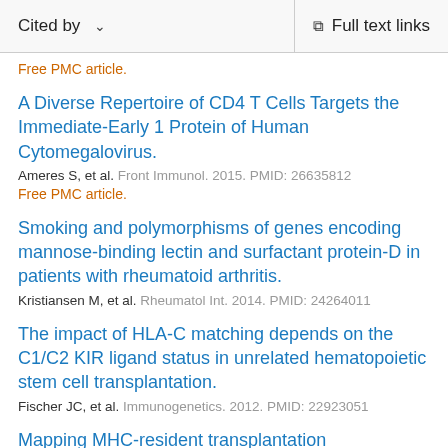Cited by   Full text links
Free PMC article.
A Diverse Repertoire of CD4 T Cells Targets the Immediate-Early 1 Protein of Human Cytomegalovirus.
Ameres S, et al. Front Immunol. 2015. PMID: 26635812
Free PMC article.
Smoking and polymorphisms of genes encoding mannose-binding lectin and surfactant protein-D in patients with rheumatoid arthritis.
Kristiansen M, et al. Rheumatol Int. 2014. PMID: 24264011
The impact of HLA-C matching depends on the C1/C2 KIR ligand status in unrelated hematopoietic stem cell transplantation.
Fischer JC, et al. Immunogenetics. 2012. PMID: 22923051
Mapping MHC-resident transplantation